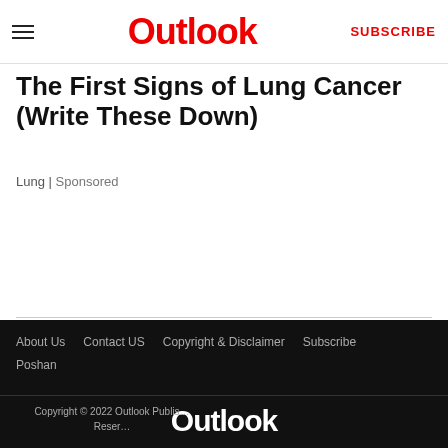Outlook | SUBSCRIBE
The First Signs of Lung Cancer (Write These Down)
Lung | Sponsored
About Us   Contact US   Copyright & Disclaimer   Subscribe   Poshan
[Figure (logo): Outlook logo in white on dark background]
[Figure (other): Social media icons: Facebook, Twitter, Instagram, YouTube in circular borders]
Copyright © 2022 Outlook Publis... Reser...